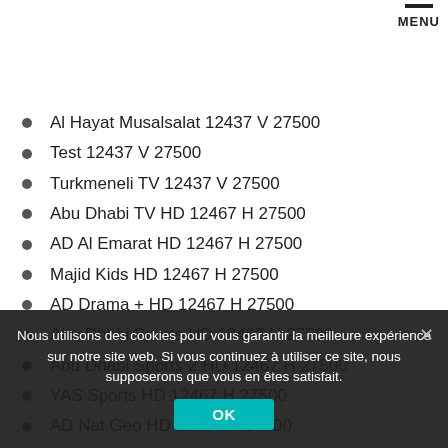MENU
Al Hayat Musalsalat 12437 V 27500
Test 12437 V 27500
Turkmeneli TV 12437 V 27500
Abu Dhabi TV HD 12467 H 27500
AD Al Emarat HD 12467 H 27500
Majid Kids HD 12467 H 27500
AD Drama + HD 12467 H 27500
Abu Dhabi Sports HD 12467 H 27500
Abu Dhabi Sports 2 HD 12467 H 27500
YAS Sports HD 12467 H 27500
AD Nat Geo HD 12467 H 27500
beIN SPORTS HD NEWS 12604 H 27500 2/2
Nous utilisons des cookies pour vous garantir la meilleure expérience sur notre site web. Si vous continuez à utiliser ce site, nous supposerons que vous en êtes satisfait.
OK